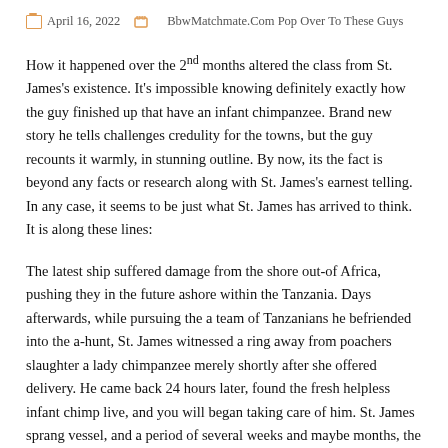April 16, 2022   BbwMatchmate.Com Pop Over To These Guys
How it happened over the 2nd months altered the class from St. James's existence. It's impossible knowing definitely exactly how the guy finished up that have an infant chimpanzee. Brand new story he tells challenges credulity for the towns, but the guy recounts it warmly, in stunning outline. By now, its the fact is beyond any facts or research along with St. James's earnest telling. In any case, it seems to be just what St. James has arrived to think. It is along these lines:
The latest ship suffered damage from the shore out-of Africa, pushing they in the future ashore within the Tanzania. Days afterwards, while pursuing the a team of Tanzanians he befriended into the a-hunt, St. James witnessed a ring away from poachers slaughter a lady chimpanzee merely shortly after she offered delivery. He came back 24 hours later, found the fresh helpless infant chimp live, and you will began taking care of him. St. James sprang vessel, and a period of several weeks and maybe months, the guy sent to the animal, foraging to own dinner, nurturing your with fresh fruit, bird egg, and you may rainwater when he sought